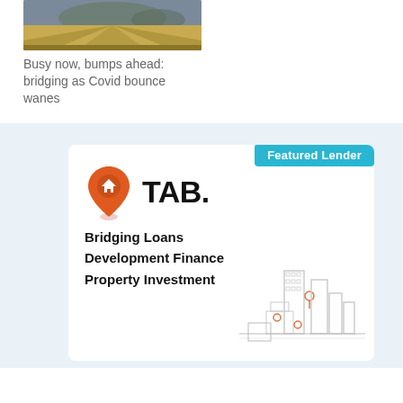[Figure (photo): Aerial photo of a forked road through golden fields with cloudy sky]
Busy now, bumps ahead: bridging as Covid bounce wanes
[Figure (infographic): Featured Lender card for TAB. showing logo with orange location pin icon and text: Bridging Loans, Development Finance, Property Investment, with city building illustration]
Bridging Loans
Development Finance
Property Investment